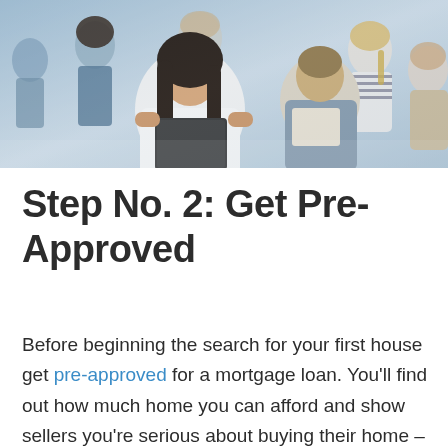[Figure (photo): Group of people sitting in a seminar or meeting, holding notepads, dressed in business casual attire. Several individuals visible including a woman in white top with dark hair in foreground.]
Step No. 2: Get Pre-Approved
Before beginning the search for your first house get pre-approved for a mortgage loan. You'll find out how much home you can afford and show sellers you're serious about buying their home – giving you negotiating power.